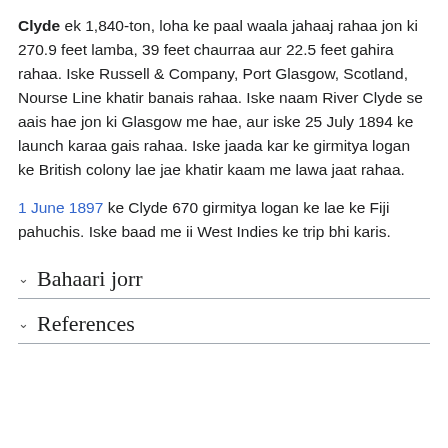Clyde ek 1,840-ton, loha ke paal waala jahaaj rahaa jon ki 270.9 feet lamba, 39 feet chaurraa aur 22.5 feet gahira rahaa. Iske Russell & Company, Port Glasgow, Scotland, Nourse Line khatir banais rahaa. Iske naam River Clyde se aais hae jon ki Glasgow me hae, aur iske 25 July 1894 ke launch karaa gais rahaa. Iske jaada kar ke girmitya logan ke British colony lae jae khatir kaam me lawa jaat rahaa.
1 June 1897 ke Clyde 670 girmitya logan ke lae ke Fiji pahuchis. Iske baad me ii West Indies ke trip bhi karis.
Bahaari jorr
References